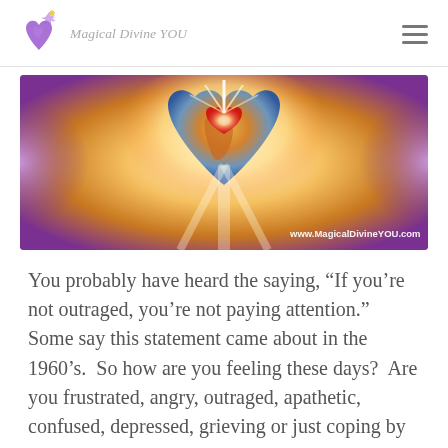Magical Divine YOU
[Figure (illustration): Colorful spiritual illustration showing a heart-shaped Earth with Africa visible, glowing light from a heart center, angelic wings on either side in purple and orange hues, with text 'www.MagicalDivineYOU.com' at the bottom right]
You probably have heard the saying, “If you’re not outraged, you’re not paying attention.”  Some say this statement came about in the 1960’s.  So how are you feeling these days?  Are you frustrated, angry, outraged, apathetic, confused, depressed, grieving or just coping by occupying your time with